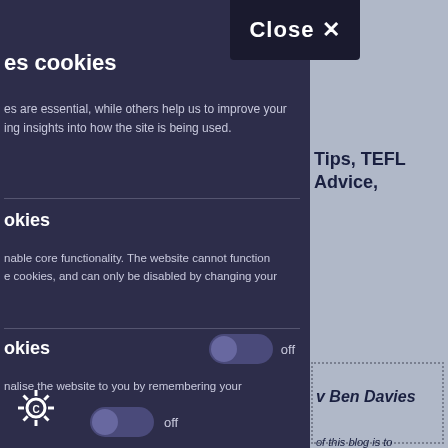[Figure (screenshot): Cookie consent overlay panel on a TEFL/English teaching blog website. Left side shows dark navy cookie settings panel with close button. Right side shows partially visible blog page with grey background.]
es cookies
es are essential, while others help us to improve your ing insights into how the site is being used.
okies
nable core functionality. The website cannot function e cookies, and can only be disabled by changing your
okies
nalise the website to you by remembering your
Tips, TEFL Advice,
v Ben Davies
of this blog is to u to some ideas ing English as a nuage. I lived in eral years. It was uld strongly e blog posts and u have a specific nt.